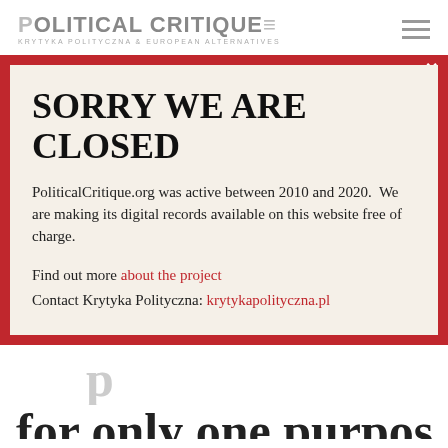POLITICAL CRITIQUE KRYTYKA POLITYCZNA & EUROPEAN ALTERNATIVES
[Figure (screenshot): A modal popup overlay with red border and cream background containing a 'Sorry We Are Closed' notice for PoliticalCritique.org]
SORRY WE ARE CLOSED
PoliticalCritique.org was active between 2010 and 2020.  We are making its digital records available on this website free of charge.
Find out more about the project
Contact Krytyka Polityczna: krytykapolityczna.pl
for only one purpose: to free Ukrainian soldiers hold